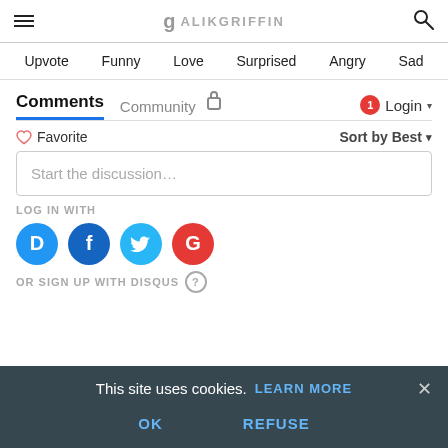☰  g ALIKGRIFFIN  🔍
Upvote  Funny  Love  Surprised  Angry  Sad
Comments  Community  🔒  1  Login ▾
♡ Favorite   Sort by Best ▾
Start the discussion…
LOG IN WITH
[Figure (other): Social login icons: Disqus (D), Facebook (F), Twitter bird, Google (G)]
OR SIGN UP WITH DISQUS
This site uses cookies.  LEARN MORE
OK   REFUSE